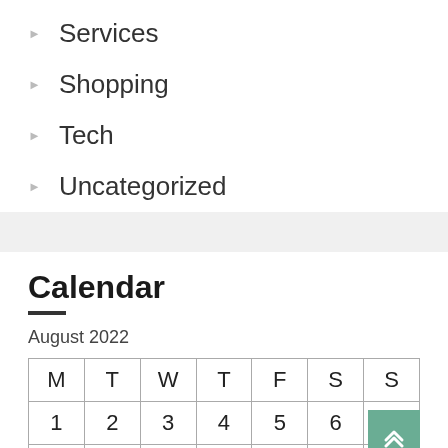Services
Shopping
Tech
Uncategorized
Calendar
August 2022
| M | T | W | T | F | S | S |
| --- | --- | --- | --- | --- | --- | --- |
| 1 | 2 | 3 | 4 | 5 | 6 | 7 |